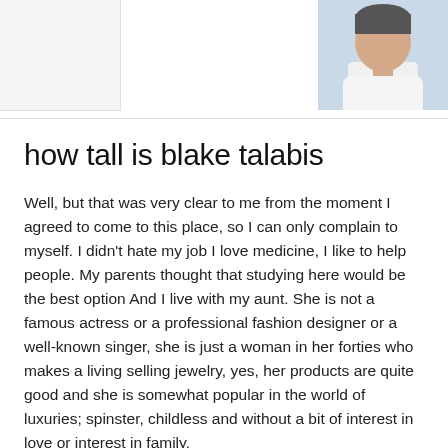[Figure (photo): Portrait photo of a person wearing a white shirt, cropped to show head and shoulders, placed in upper right corner of the page]
how tall is blake talabis
Well, but that was very clear to me from the moment I agreed to come to this place, so I can only complain to myself. I didn't hate my job I love medicine, I like to help people. My parents thought that studying here would be the best option And I live with my aunt. She is not a famous actress or a professional fashion designer or a well-known singer, she is just a woman in her forties who makes a living selling jewelry, yes, her products are quite good and she is somewhat popular in the world of luxuries; spinster, childless and without a bit of interest in love or interest in family.